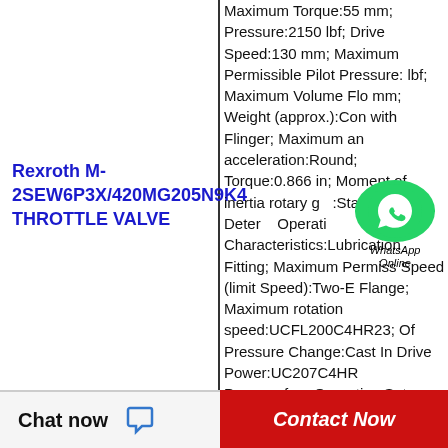Maximum Torque:55 mm; Pressure:2150 lbf; Drive Speed:130 mm; Maximum Permissible Pilot Pressure: lbf; Maximum Volume Flo mm; Weight (approx.):Con with Flinger; Maximum an acceleration:Round; Torque:0.866 in; Moment of inertia rotary g :Standa Duty; Deter Operation Characteristics:Lubrication Fitting; Maximum Permiss Speed (limit Speed):Two-E Flange; Maximum rotation speed:UCFL200C4HR23; Of Pressure Change:Cast In Drive Power:UC207C4HR Pressurefree Operation:Set
Rexroth M-2SEW6P3X/420MG205N9K4 THROTTLE VALVE
[Figure (other): WhatsApp Online green circle icon with phone handset symbol and WhatsApp Online text label]
Chat now    Contact Now